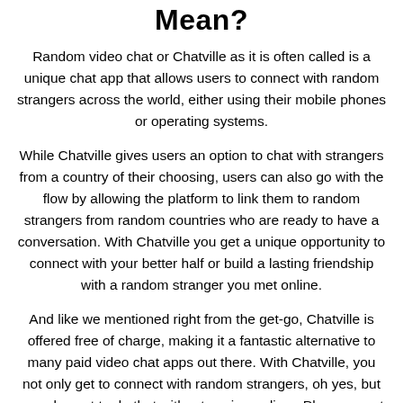Mean?
Random video chat or Chatville as it is often called is a unique chat app that allows users to connect with random strangers across the world, either using their mobile phones or operating systems.
While Chatville gives users an option to chat with strangers from a country of their choosing, users can also go with the flow by allowing the platform to link them to random strangers from random countries who are ready to have a conversation. With Chatville you get a unique opportunity to connect with your better half or build a lasting friendship with a random stranger you met online.
And like we mentioned right from the get-go, Chatville is offered free of charge, making it a fantastic alternative to many paid video chat apps out there. With Chatville, you not only get to connect with random strangers, oh yes, but you also get to do that without paying a dime. Plus, you get